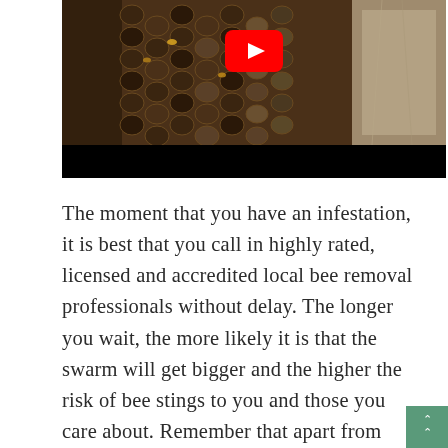[Figure (screenshot): YouTube video thumbnail showing honeycomb/beehive structure with bees, with a YouTube play button overlay. The video has a black letterbox bar at the bottom.]
The moment that you have an infestation, it is best that you call in highly rated, licensed and accredited local bee removal professionals without delay. The longer you wait, the more likely it is that the swarm will get bigger and the higher the risk of bee stings to you and those you care about. Remember that apart from being